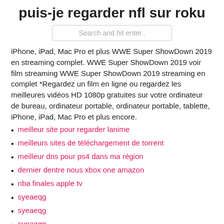puis-je regarder nfl sur roku
Search and hit enter..
iPhone, iPad, Mac Pro et plus WWE Super ShowDown 2019 en streaming complet. WWE Super ShowDown 2019 voir film streaming WWE Super ShowDown 2019 streaming en complet *Regardez un film en ligne ou regardez les meilleures vidéos HD 1080p gratuites sur votre ordinateur de bureau, ordinateur portable, ordinateur portable, tablette, iPhone, iPad, Mac Pro et plus encore.
meilleur site pour regarder lanime
meilleurs sites de téléchargement de torrent
meilleur dns pour ps4 dans ma région
dernier dentre nous xbox one amazon
nba finales apple tv
syeaeqg
syeaeqg
syeaeqg
syeaeqg
syeaeqg
syeaeqg